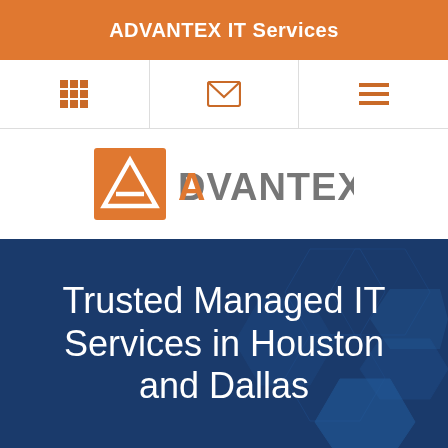ADVANTEX IT Services
[Figure (logo): ADVANTEX IT Services logo with orange triangle icon and grey text]
Trusted Managed IT Services in Houston and Dallas